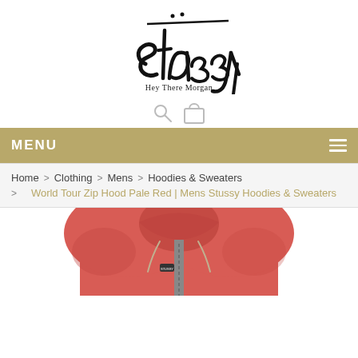[Figure (logo): Stussy brand logo in stylized graffiti-style handwriting, black ink on white background. Below the logo text reads 'Hey There Morgan'.]
[Figure (other): Search icon (magnifying glass) and shopping cart icon in light gray/tan color]
MENU
Home > Clothing > Mens > Hoodies & Sweaters > World Tour Zip Hood Pale Red | Mens Stussy Hoodies & Sweaters
[Figure (photo): Partial product photo showing a pale red/coral Stussy zip hoodie sweatshirt, showing the hood and upper torso area with a small Stussy logo on the chest and a zipper]